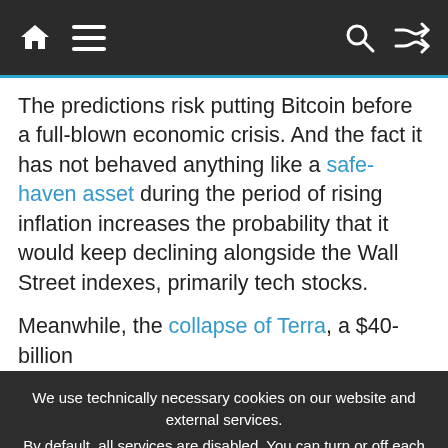Navigation bar with home, menu, search, and shuffle icons
The predictions risk putting Bitcoin before a full-blown economic crisis. And the fact it has not behaved anything like a safe-haven asset during the period of rising inflation increases the probability that it would keep declining alongside the Wall Street indexes, primarily tech stocks.
Meanwhile, the collapse of Terra, a $40-billion
We use technically necessary cookies on our website and external services. By default, all services are disabled. You can turn or off each service if you need them or not. For more informations please read our privacy policy.
✓ Accept
Customize